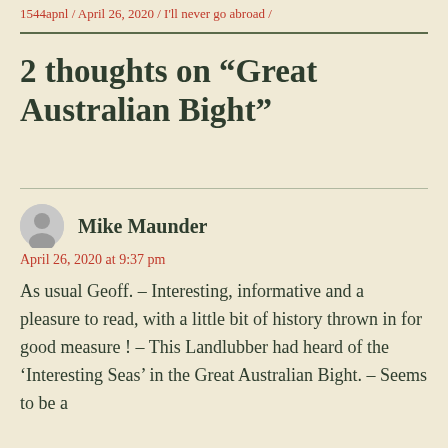1544apnl / April 26, 2020 / I'll never go abroad /
2 thoughts on “Great Australian Bight”
Mike Maunder
April 26, 2020 at 9:37 pm
As usual Geoff. – Interesting, informative and a pleasure to read, with a little bit of history thrown in for good measure ! – This Landlubber had heard of the ‘Interesting Seas’ in the Great Australian Bight. – Seems to be a